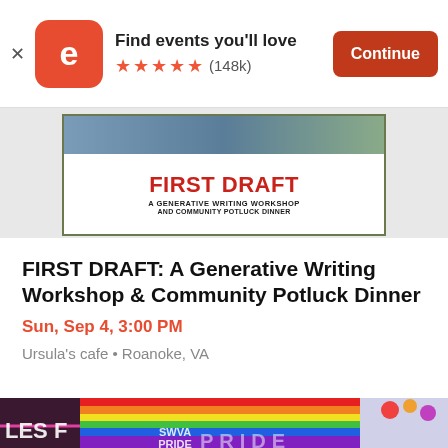[Figure (screenshot): Eventbrite app banner with orange icon showing stylized 'e' letter, text 'Find events you'll love', 5 orange stars rating, (148k) reviews, and orange 'Continue' button. X close button on left.]
[Figure (photo): Event promotional image showing 'FIRST DRAFT: A Generative Writing Workshop and Community Potluck Dinner' text in red on white background inside an olive green bordered card, with a photo strip at top.]
FIRST DRAFT: A Generative Writing Workshop & Community Potluck Dinner
Sun, Sep 4, 3:00 PM
Ursula's cafe • Roanoke, VA
[Figure (photo): Pride event photo showing rainbow flags, colorful balloons, and SWVA Pride logo watermark. Text 'LES F' and 'PRIDE' partially visible.]